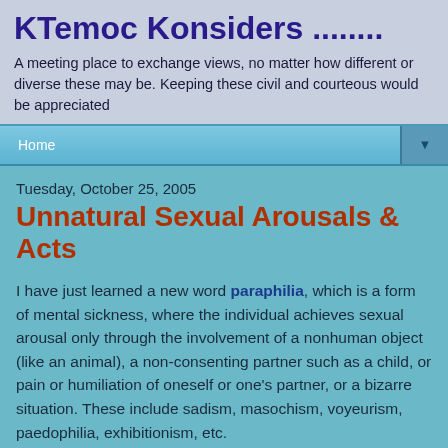KTemoc Konsiders ........
A meeting place to exchange views, no matter how different or diverse these may be. Keeping these civil and courteous would be appreciated
Home
Tuesday, October 25, 2005
Unnatural Sexual Arousals & Acts
I have just learned a new word paraphilia, which is a form of mental sickness, where the individual achieves sexual arousal only through the involvement of a nonhuman object (like an animal), a non-consenting partner such as a child, or pain or humiliation of oneself or one's partner, or a bizarre situation. These include sadism, masochism, voyeurism, paedophilia, exhibitionism, etc.